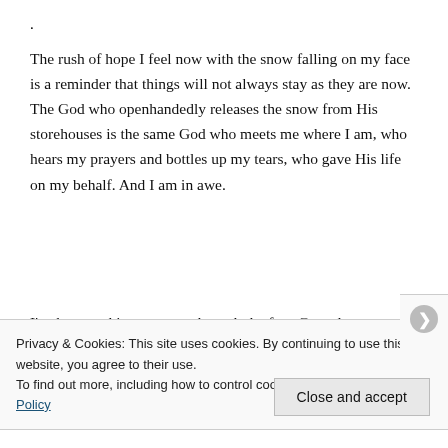.
The rush of hope I feel now with the snow falling on my face is a reminder that things will not always stay as they are now. The God who openhandedly releases the snow from His storehouses is the same God who meets me where I am, who hears my prayers and bottles up my tears, who gave His life on my behalf. And I am in awe.
I've been making my way through the four Gospels over
Privacy & Cookies: This site uses cookies. By continuing to use this website, you agree to their use.
To find out more, including how to control cookies, see here: Cookie Policy
Close and accept